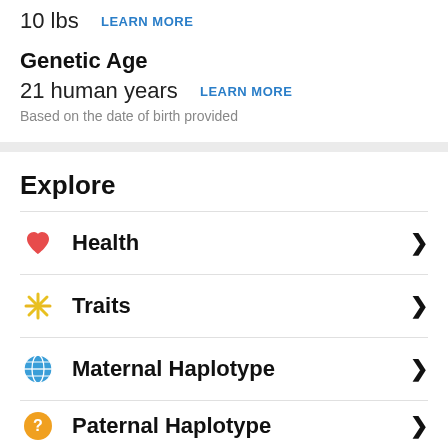10 lbs  LEARN MORE
Genetic Age
21 human years  LEARN MORE
Based on the date of birth provided
Explore
Health
Traits
Maternal Haplotype
Paternal Haplotype